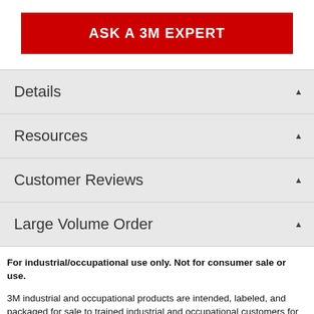[Figure (other): Red button with white bold text reading ASK A 3M EXPERT]
Details
Resources
Customer Reviews
Large Volume Order
For industrial/occupational use only. Not for consumer sale or use.
3M industrial and occupational products are intended, labeled, and packaged for sale to trained industrial and occupational customers for workplace use.  Unless